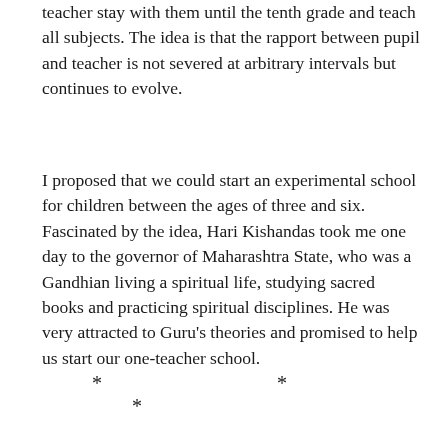teacher stay with them until the tenth grade and teach all subjects. The idea is that the rapport between pupil and teacher is not severed at arbitrary intervals but continues to evolve.
I proposed that we could start an experimental school for children between the ages of three and six. Fascinated by the idea, Hari Kishandas took me one day to the governor of Maharashtra State, who was a Gandhian living a spiritual life, studying sacred books and practicing spiritual disciplines. He was very attracted to Guru's theories and promised to help us start our one-teacher school.
* * *